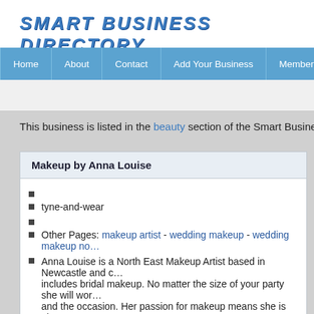SMART BUSINESS DIRECTORY
Home | About | Contact | Add Your Business | Members Login
Makeup by Anna Louise
This business is listed in the beauty section of the Smart Business Directory
Makeup by Anna Louise
tyne-and-wear
Other Pages: makeup artist - wedding makeup - wedding makeup no...
Anna Louise is a North East Makeup Artist based in Newcastle and c... includes bridal makeup. No matter the size of your party she will wor... and the occasion. Her passion for makeup means she is always acro... information and advice prior to the day. Anna Louise specialises in b... can work with you for all events and occasions.